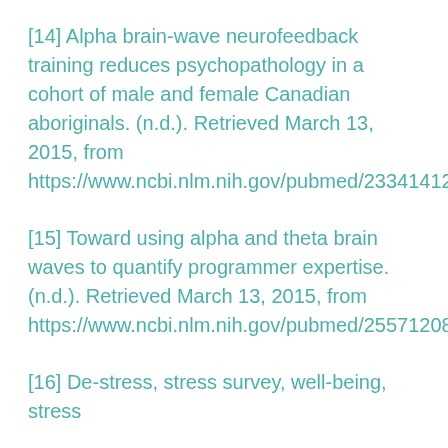[14] Alpha brain-wave neurofeedback training reduces psychopathology in a cohort of male and female Canadian aboriginals. (n.d.). Retrieved March 13, 2015, from https://www.ncbi.nlm.nih.gov/pubmed/23341412
[15] Toward using alpha and theta brain waves to quantify programmer expertise. (n.d.). Retrieved March 13, 2015, from https://www.ncbi.nlm.nih.gov/pubmed/25571208
[16] De-stress, stress survey, well-being, stress